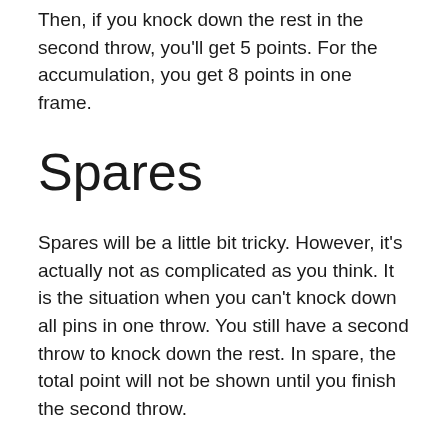Then, if you knock down the rest in the second throw, you'll get 5 points. For the accumulation, you get 8 points in one frame.
Spares
Spares will be a little bit tricky. However, it's actually not as complicated as you think. It is the situation when you can't knock down all pins in one throw. You still have a second throw to knock down the rest. In spare, the total point will not be shown until you finish the second throw.
For example, when you get a spare, then you knock down the 8 pins on your next throw, the score of the spare frame will be 18. 10